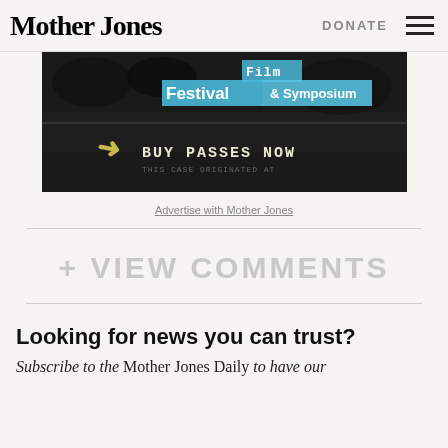Mother Jones   DONATE
[Figure (screenshot): Advertisement banner for a Film Festival & Symposium with 'BUY PASSES NOW' call to action on dark background with blue highlighted text]
Advertise with Mother Jones
+ VIEW COMMENTS
Looking for news you can trust?
Subscribe to the Mother Jones Daily to have our top stories delivered to your inbox.